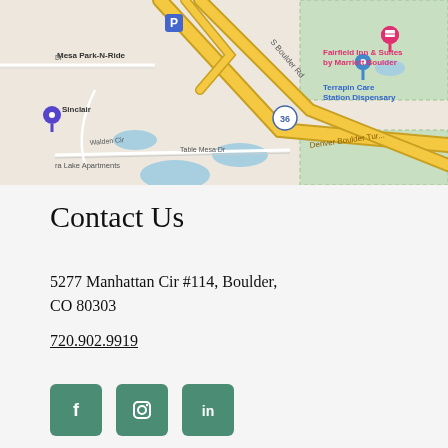[Figure (map): Google Maps screenshot showing area near S Boulder Rd and Table Mesa Dr in Boulder, CO. Landmarks visible include Mesa Park-N-Ride, Sinclair gas station, Fairfield Inn & Suites by Marriott Boulder, Terrapin Care Station Dispensary, Denver Boulder Turnpike, Table Mesa Dr, Walden Cir, and Aurora Lake Apartments. Yellow highway roads (US-36) prominent in center.]
Contact Us
5277 Manhattan Cir #114, Boulder, CO 80303
720.902.9919
[Figure (infographic): Three social media icon buttons: Facebook (f), Instagram (camera), LinkedIn (in), all in teal/green rounded square buttons.]